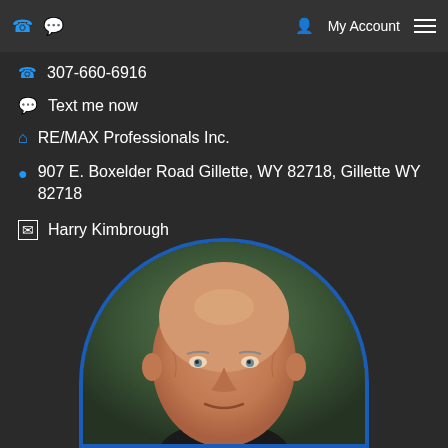My Account
307-660-6916
Text me now
RE/MAX Professionals Inc.
907 E. Boxelder Road Gillette, WY 82718, Gillette WY 82718
Harry Kimbrough
[Figure (photo): Portrait photo of Harry Kimbrough, a bald elderly man in formal attire, displayed in an oval/arch frame with blue border, against a green-gray background.]